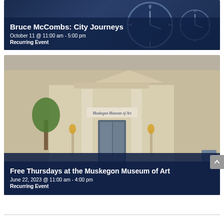[Figure (photo): Event card for 'Bruce McCombs: City Journeys' with dark navy background showing clock imagery; white text overlay with event title, date, and recurring event label.]
Bruce McCombs: City Journeys
October 11 @ 11:00 am - 5:00 pm
Recurring Event
[Figure (photo): Exterior photo of the Muskegon Museum of Art building showing classical columns and entrance, with a dark navy overlay at the bottom containing event text.]
Free Thursdays at the Muskegon Museum of Art
June 22, 2023 @ 11:00 am - 4:00 pm
Recurring Event